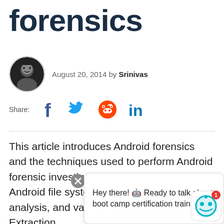forensics
August 20, 2014 by Srinivas
[Figure (infographic): Social share bar showing Facebook, Twitter, Reddit, LinkedIn icons with Share: label]
This article introduces Android forensics and the techniques used to perform Android forensic investigations. We will discuss Android file systems, data acquisition, analysis, and various tools available for Android Data Extraction.
Hey there! 🤖 Ready to talk about boot camp certification training?